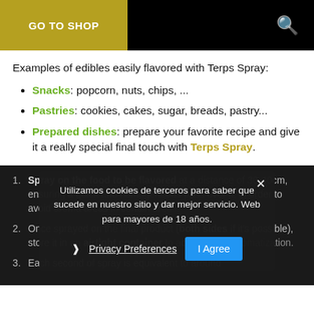GO TO SHOP
Examples of edibles easily flavored with Terps Spray:
Snacks: popcorn, nuts, chips, ...
Pastries: cookies, cakes, sugar, breads, pastry...
Prepared dishes: prepare your favorite recipe and give it a really special final touch with Terps Spray.
Spray on the food to be flavored at a distance of 30-40cm, ensuring a quick and homogeneous pass over it, in order to avoid aroma areas in certain areas.
Once sprayed on the final product (both sides if it's possible), store it in an airtight container to achieve total aromatization.
Each second of spray is equivalent to around
Utilizamos cookies de terceros para saber que sucede en nuestro sitio y dar mejor servicio. Web para mayores de 18 años.
Privacy Preferences | I Agree